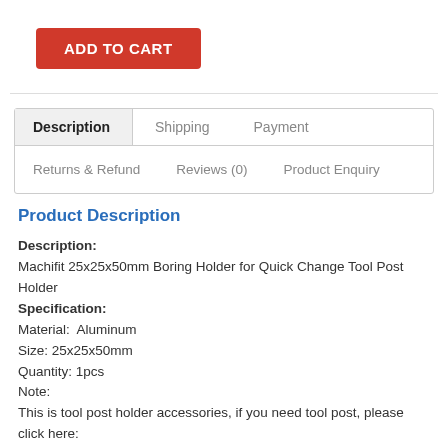[Figure (other): Red 'ADD TO CART' button]
Description | Shipping | Payment | Returns & Refund | Reviews (0) | Product Enquiry
Product Description
Description:
Machifit 25x25x50mm Boring Holder for Quick Change Tool Post Holder
Specification:
Material:  Aluminum
Size: 25x25x50mm
Quantity: 1pcs
Note:
This is tool post holder accessories, if you need tool post, please click here: